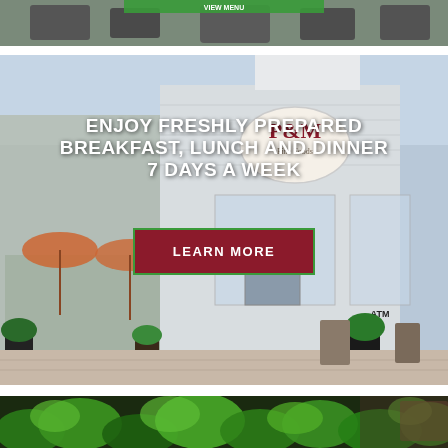[Figure (photo): Top partial photo showing outdoor patio seating with chairs, viewed from above. A green button/banner is visible at the top edge.]
[Figure (photo): Photo of the exterior of P&M Fine Foods restaurant storefront with outdoor seating, orange umbrellas, potted plants, and an ATM sign visible.]
ENJOY FRESHLY PREPARED BREAKFAST, LUNCH AND DINNER 7 DAYS A WEEK
LEARN MORE
[Figure (photo): Close-up photo of fresh green salad leaves/lettuce at the bottom of the page.]